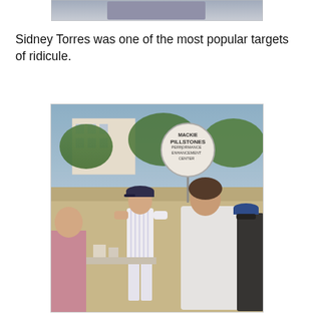[Figure (photo): Top portion of a photo, partially visible at the top of the page, cut off]
Sidney Torres was one of the most popular targets of ridicule.
[Figure (photo): Outdoor scene with people at what appears to be a street fair or market. A man in a pinstripe baseball uniform stands near a booth. A round sign reads 'MACKIE PILLSTONES PERFORMANCE ENHANCEMENT CENTER'. Another person in a white jacket stands in the foreground on the right.]